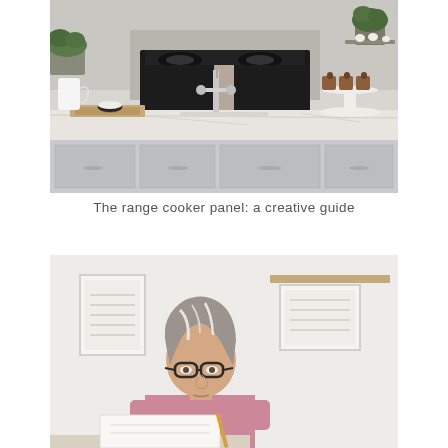[Figure (photo): Kitchen scene with a range cooker, marble countertop, chrome faucet, potted herbs, a cutting board with small bowl, white pitcher, and a cake stand with muffins on the right.]
The range cooker panel: a creative guide
[Figure (photo): A middle-aged woman with grey-streaked hair wearing glasses and a pink top, looking down and writing or working at a desk. A framed artwork and a wooden shelf are visible on the white wall behind her.]